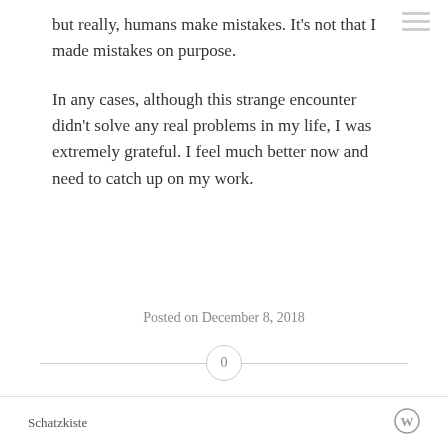but really, humans make mistakes. It's not that I made mistakes on purpose.
In any cases, although this strange encounter didn't solve any real problems in my life, I was extremely grateful. I feel much better now and need to catch up on my work.
Posted on December 8, 2018
Schatzkiste